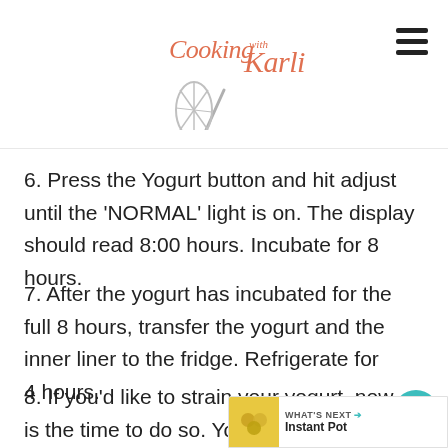Cooking with Karli
6. Press the Yogurt button and hit adjust until the ‘NORMAL’ light is on. The display should read 8:00 hours. Incubate for 8 hours.
7. After the yogurt has incubated for the full 8 hours, transfer the yogurt and the inner liner to the fridge. Refrigerate for 4 hours.
8. If you’d like to strain your yogurt, now is the time to do so. You can strain by placing the yogurt in a coffee filter that is inside of a mesh